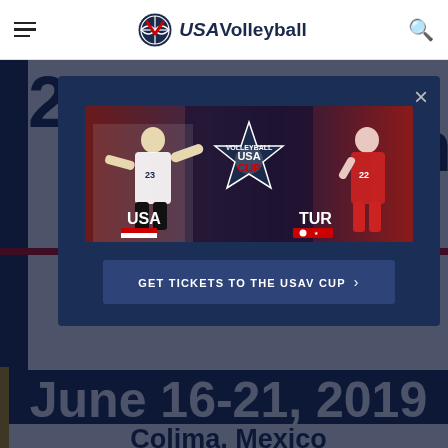USA Volleyball
[Figure (screenshot): USA Volleyball Cup promotional banner showing USA vs TUR match with players and USA Cup Volleyball star logo]
GET TICKETS TO THE USAV CUP >
June 16-21, 2019
Colima, Mexico